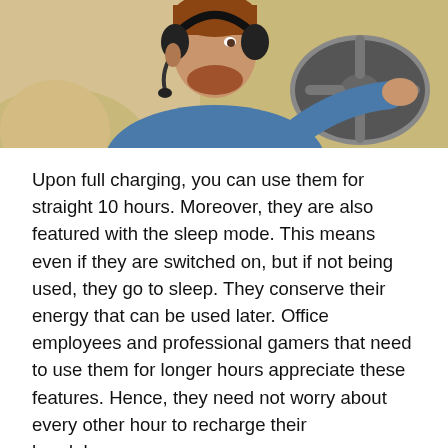[Figure (photo): A man wearing a headset/headphones with a microphone, sitting in a car and holding the steering wheel, wearing a blue denim shirt]
Upon full charging, you can use them for straight 10 hours. Moreover, they are also featured with the sleep mode. This means even if they are switched on, but if not being used, they go to sleep. They conserve their energy that can be used later. Office employees and professional gamers that need to use them for longer hours appreciate these features. Hence, they need not worry about every other hour to recharge their headphones.
4. Less Noise Cancellation:
The headsets come in different styles and designs. The over to head, behind the neck, in the ear, over the ear are some of the best styles that people love. All of these styles